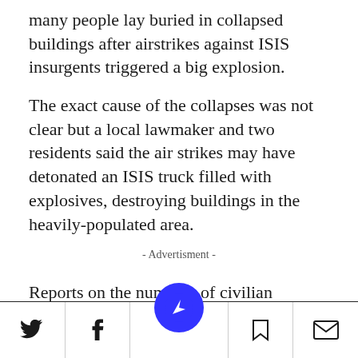many people lay buried in collapsed buildings after airstrikes against ISIS insurgents triggered a big explosion.
The exact cause of the collapses was not clear but a local lawmaker and two residents said the air strikes may have detonated an ISIS truck filled with explosives, destroying buildings in the heavily-populated area.
- Advertisment -
Reports on the numbers of civilian casualties have varied, but according to The New York
Social share bar with Twitter, Facebook, bookmark, and mail icons, and a blue circular navigation button